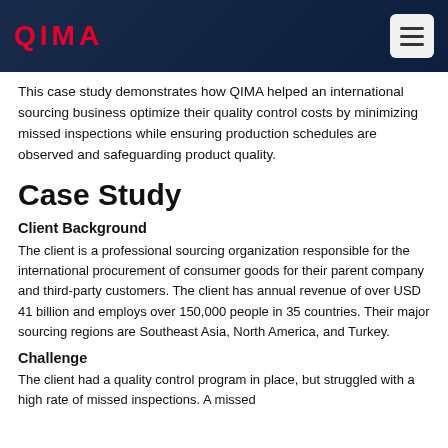QIMA
This case study demonstrates how QIMA helped an international sourcing business optimize their quality control costs by minimizing missed inspections while ensuring production schedules are observed and safeguarding product quality.
Case Study
Client Background
The client is a professional sourcing organization responsible for the international procurement of consumer goods for their parent company and third-party customers. The client has annual revenue of over USD 41 billion and employs over 150,000 people in 35 countries. Their major sourcing regions are Southeast Asia, North America, and Turkey.
Challenge
The client had a quality control program in place, but struggled with a high rate of missed inspections. A missed